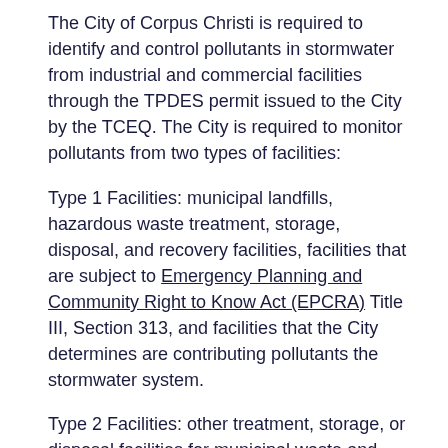The City of Corpus Christi is required to identify and control pollutants in stormwater from industrial and commercial facilities through the TPDES permit issued to the City by the TCEQ. The City is required to monitor pollutants from two types of facilities:
Type 1 Facilities: municipal landfills, hazardous waste treatment, storage, disposal, and recovery facilities, facilities that are subject to Emergency Planning and Community Right to Know Act (EPCRA) Title III, Section 313, and facilities that the City determines are contributing pollutants the stormwater system.
Type 2 Facilities: other treatment, storage, or disposal facilities for municipal waste and other industrial or commercial facilities that the City believes are contributing pollutants to the stormwater system.
The City's Stormwater Management Program describes the process of identifying, inspecting, and monitoring industrial and commercial facilities, and compliance and